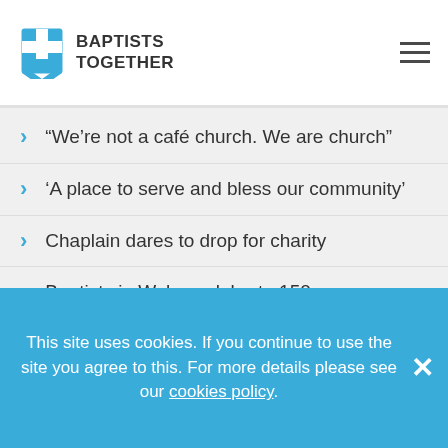Baptists Together
“We’re not a café church. We are church”
‘A place to serve and bless our community’
Chaplain dares to drop for charity
Baptists in Wales celebrate 150 years
Award for Aberfan radio programme
Baptist minister to open micropub
Two Baptist ministers marry in Cardiff
This site uses cookies. If you continue to use the site you agree to this. For more details please see our cookies policy.